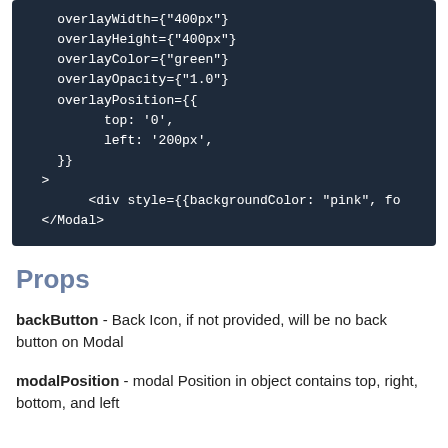[Figure (screenshot): Code block showing JSX props including overlayWidth, overlayHeight, overlayColor, overlayOpacity, overlayPosition with top and left values, closing angle bracket, div with style prop, and closing Modal tag]
Props
backButton - Back Icon, if not provided, will be no back button on Modal
modalPosition - modal Position in object contains top, right, bottom, and left